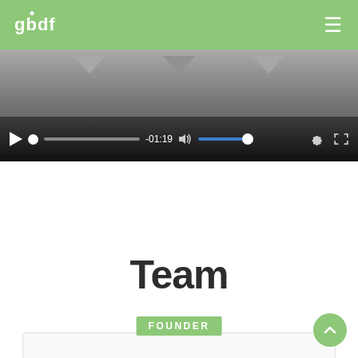gbdf
[Figure (screenshot): Video player with paused state showing -01:19 timestamp, progress bar, volume control at approximately 70%, settings gear icon, and fullscreen icon. Above the controls bar are three downward-pointing arrows (navigation indicators). Background fades from light gray at top to dark gray at bottom.]
Team
FOUNDER